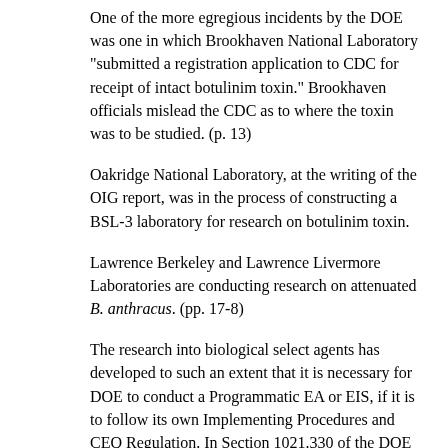One of the more egregious incidents by the DOE was one in which Brookhaven National Laboratory "submitted a registration application to CDC for receipt of intact botulinim toxin." Brookhaven officials mislead the CDC as to where the toxin was to be studied. (p. 13)
Oakridge National Laboratory, at the writing of the OIG report, was in the process of constructing a BSL-3 laboratory for research on botulinim toxin.
Lawrence Berkeley and Lawrence Livermore Laboratories are conducting research on attenuated B. anthracus. (pp. 17-8)
The research into biological select agents has developed to such an extent that it is necessary for DOE to conduct a Programmatic EA or EIS, if it is to follow its own Implementing Procedures and CEQ Regulation. In Section 1021.330 of the DOE Implementing Procedures, it is stated that "When required to support a DOE programmatic decision (40 CFR 1508.18 (b) (3)), DOE shall prepare a programmatic EIS or EA (40 CFR 1502.4)." The facts point out that the biological select agent research conducted at the national